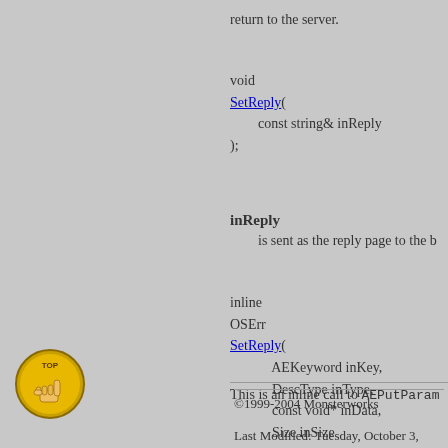return to the server.
void
SetReply(
        const string& inReply
);
inReply
        is sent as the reply page to the b
inline
OSErr
SetReply(
            AEKeyword inKey,
            DescType inType,
            const void* inData,
            Size inSize
);
This is an inline call to AEPutParam
©1999-2004 Monsterworks

Last Modified: Tuesday, October 3,